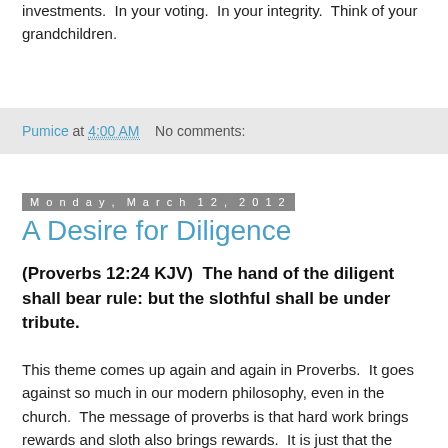investments.  In your voting.  In your integrity.  Think of your grandchildren.
Pumice at 4:00 AM    No comments:
Monday, March 12, 2012
A Desire for Diligence
(Proverbs 12:24 KJV)  The hand of the diligent shall bear rule: but the slothful shall be under tribute.
This theme comes up again and again in Proverbs.  It goes against so much in our modern philosophy, even in the church.  The message of proverbs is that hard work brings rewards and sloth also brings rewards.  It is just that the rewards are different.
The “diligent” (2742a) will “rule” (4910).  They will be in charge.  Do they rule because they are diligent or are they